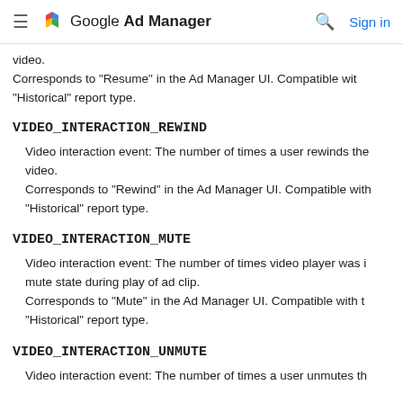Google Ad Manager
video.
Corresponds to "Resume" in the Ad Manager UI. Compatible with "Historical" report type.
VIDEO_INTERACTION_REWIND
Video interaction event: The number of times a user rewinds the video.
Corresponds to "Rewind" in the Ad Manager UI. Compatible with "Historical" report type.
VIDEO_INTERACTION_MUTE
Video interaction event: The number of times video player was in mute state during play of ad clip.
Corresponds to "Mute" in the Ad Manager UI. Compatible with the "Historical" report type.
VIDEO_INTERACTION_UNMUTE
Video interaction event: The number of times a user unmutes the...